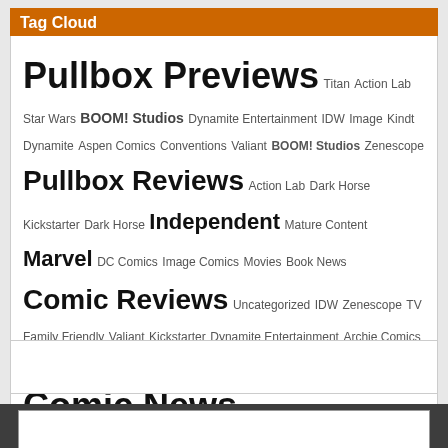Tag Cloud
Pullbox Previews Titan Action Lab Star Wars BOOM! Studios Dynamite Entertainment IDW Image Kindt Dynamite Aspen Comics Conventions Valiant BOOM! Studios Zenescope Pullbox Reviews Action Lab Dark Horse Kickstarter Dark Horse Independent Mature Content Marvel DC Comics Image Comics Movies Book News Comic Reviews Uncategorized IDW Zenescope TV Family Friendly Valiant Kickstarter Dynamite Entertainment Archie Comics Games Boom Studios Titan Comics Marvel Toys comiXology Comic News Archie Comics
ThePullbox.com is a part of ThePullbox LLC © 2007-2022